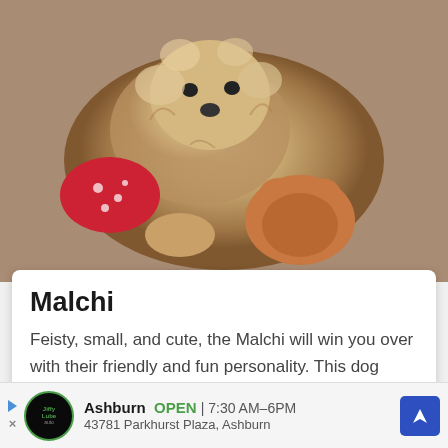[Figure (photo): A fluffy Malchi dog (Chihuahua-Maltese mix) with curly tan fur lying among stuffed animal toys including a red polka-dot toy and a brown teddy bear.]
Malchi
Feisty, small, and cute, the Malchi will win you over with their friendly and fun personality. This dog breed is a mix between a Chihuahua and a Maltese.
[Figure (photo): A young boy with brown hair photographed outdoors with a green bokeh background, appearing to be playing with a small dog visible at the bottom of the frame.]
Ashburn  OPEN  7:30 AM–6PM  43781 Parkhurst Plaza, Ashburn